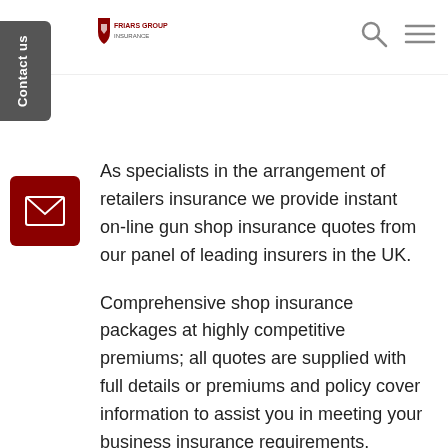[Figure (logo): Friars Group Insurance logo in top left navigation area]
[Figure (other): Search icon (magnifying glass) in top right navigation]
[Figure (other): Hamburger menu icon in top right navigation]
[Figure (other): Dark grey rotated 'Contact us' tab on left side of page]
[Figure (other): Dark red email envelope button on left side of page]
As specialists in the arrangement of retailers insurance we provide instant on-line gun shop insurance quotes from our panel of leading insurers in the UK.
Comprehensive shop insurance packages at highly competitive premiums; all quotes are supplied with full details or premiums and policy cover information to assist you in meeting your business insurance requirements.